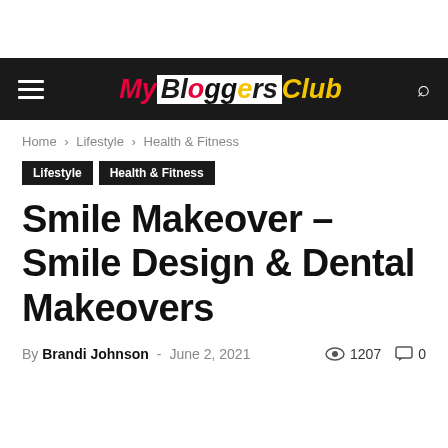MyBloggersClub — navigation bar with logo, hamburger menu, and search icon
Home › Lifestyle › Health & Fitness
Lifestyle   Health & Fitness
Smile Makeover – Smile Design & Dental Makeovers
By Brandi Johnson - June 2, 2021  👁 1207  💬 0